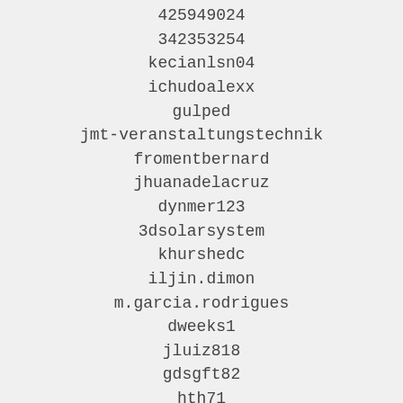425949024
342353254
kecianlsn04
ichudoalexx
gulped
jmt-veranstaltungstechnik
fromentbernard
jhuanadelacruz
dynmer123
3dsolarsystem
khurshedc
iljin.dimon
m.garcia.rodrigues
dweeks1
jluiz818
gdsgft82
hth71
gs.glamour
does_1870
40503558
kclv007
799945921
aaaliassam
icirish45